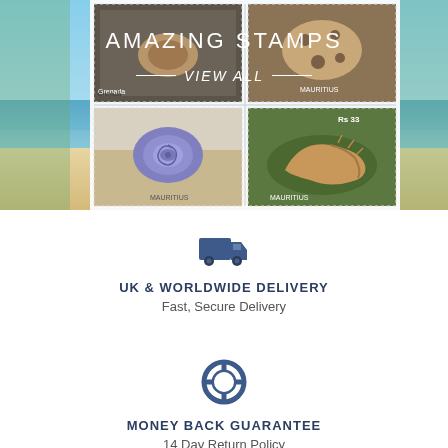[Figure (photo): Hero image showing Mauritius stamps with seashells on a beach background. Four stamps visible featuring shells and marine life. Text overlays: 'AMAZING STAMPS' and '— VIEW ALL —']
AMAZING STAMPS
— VIEW ALL —
[Figure (illustration): Blue delivery truck icon]
UK & WORLDWIDE DELIVERY
Fast, Secure Delivery
[Figure (illustration): Blue life preserver / lifebuoy icon]
MONEY BACK GUARANTEE
14 Day Return Policy